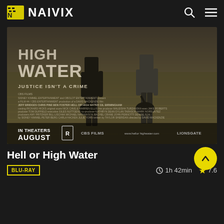NAIVIX
[Figure (photo): Hell or High Water movie poster. Two men walking away from camera through a field carrying duffel bags. Text: HIGH WATER, JUSTICE ISN'T A CRIME. Credits include Jeff Bridges, Chris Pine, Ben Foster. IN THEATERS AUGUST. Rated R. CBS FILMS. LIONSGATE.]
Hell or High Water
BLU-RAY
1h 42min
7.6